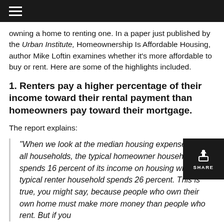owning a home to renting one. In a paper just published by the Urban Institute, Homeownership Is Affordable Housing, author Mike Loftin examines whether it's more affordable to buy or rent. Here are some of the highlights included.
1. Renters pay a higher percentage of their income toward their rental payment than homeowners pay toward their mortgage.
The report explains:
“When we look at the median housing expense ratio of all households, the typical homeowner household spends 16 percent of its income on housing while the typical renter household spends 26 percent. This is true, you might say, because people who own their own home must make more money than people who rent. But if you